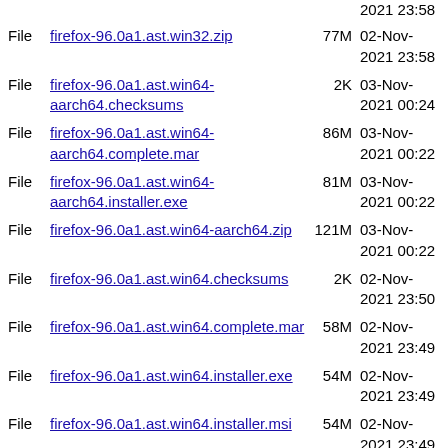File  firefox-96.0a1.ast.win32.zip  77M  02-Nov-2021 23:58
File  firefox-96.0a1.ast.win64-aarch64.checksums  2K  03-Nov-2021 00:24
File  firefox-96.0a1.ast.win64-aarch64.complete.mar  86M  03-Nov-2021 00:22
File  firefox-96.0a1.ast.win64-aarch64.installer.exe  81M  03-Nov-2021 00:22
File  firefox-96.0a1.ast.win64-aarch64.zip  121M  03-Nov-2021 00:22
File  firefox-96.0a1.ast.win64.checksums  2K  02-Nov-2021 23:50
File  firefox-96.0a1.ast.win64.complete.mar  58M  02-Nov-2021 23:49
File  firefox-96.0a1.ast.win64.installer.exe  54M  02-Nov-2021 23:49
File  firefox-96.0a1.ast.win64.installer.msi  54M  02-Nov-2021 23:49
File  firefox-96.0a1.ast.win64.zip  80M  02-Nov-2021 23:49
File  firefox-96.0a1.az.linux-i686.checksums  2K  02-Nov-2021 23:56